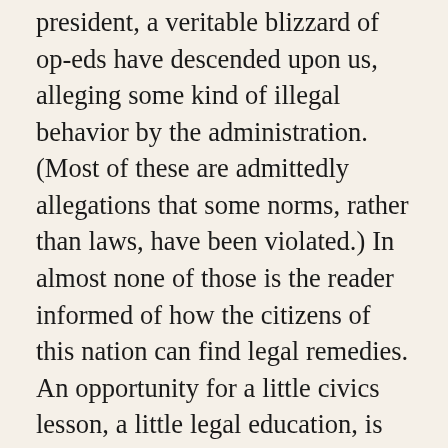president, a veritable blizzard of op-eds have descended upon us, alleging some kind of illegal behavior by the administration. (Most of these are admittedly allegations that some norms, rather than laws, have been violated.) In almost none of those is the reader informed of how the citizens of this nation can find legal remedies. An opportunity for a little civics lesson, a little legal education, is missed out in each case. And the impression that citizens have, that the laws of this nation simply do not check the actions of the powerful, is reinforced. From a political standpoint, polemics are of little use if they do not include some call to action: here is the legal violation, this is what must be done to redress it. Elementary rules of composition for political advocacy insist...